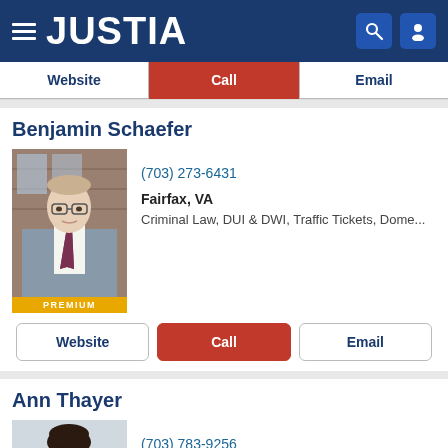JUSTIA
Website | Call | Email
Benjamin Schaefer
[Figure (photo): Professional headshot of Benjamin Schaefer, a man in a suit with glasses, in front of a brick building. Badge reads PREMIUM.]
(703) 273-6431
Fairfax, VA
Criminal Law, DUI & DWI, Traffic Tickets, Dome...
Website | Call | Email
Ann Thayer
[Figure (photo): Professional headshot of Ann Thayer, a woman in a black blazer with arms crossed, smiling. Badge reads PREMIUM.]
(703) 783-9256
Fairfax, VA
Domestic Violence, Criminal Law, Juvenile Law,...